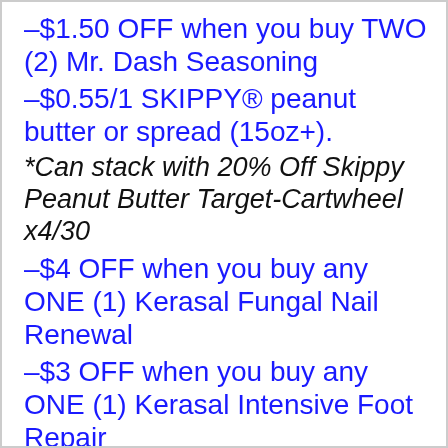–$1.50 OFF when you buy TWO (2) Mr. Dash Seasoning
–$0.55/1 SKIPPY® peanut butter or spread (15oz+).
*Can stack with 20% Off Skippy Peanut Butter Target-Cartwheel x4/30
–$4 OFF when you buy any ONE (1) Kerasal Fungal Nail Renewal
–$3 OFF when you buy any ONE (1) Kerasal Intensive Foot Repair
–$1 OFF when you buy any ONE (1)